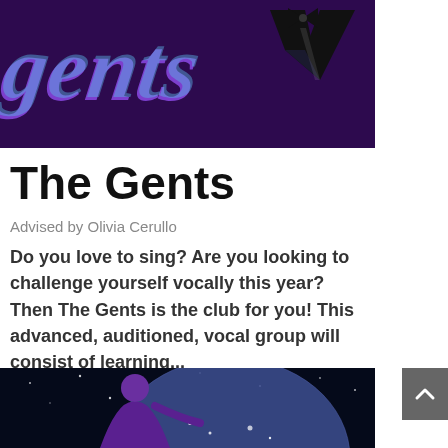[Figure (illustration): Dark purple background with cursive 'gents' text in purple/blue gradient and a tuxedo suit silhouette on the right]
The Gents
Advised by Olivia Cerullo
Do you love to sing? Are you looking to challenge yourself vocally this year? Then The Gents is the club for you! This advanced, auditioned, vocal group will consist of learning...
[Figure (illustration): Dark space-themed illustration with a purple figure silhouette reaching toward a large blue planet/globe with stars]